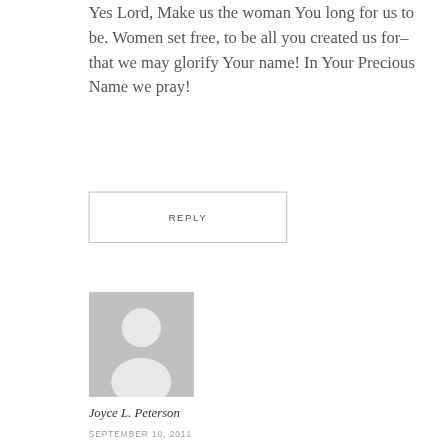Yes Lord, Make us the woman You long for us to be. Women set free, to be all you created us for–that we may glorify Your name! In Your Precious Name we pray!
REPLY
[Figure (illustration): Generic gray avatar placeholder image showing a silhouette of a person]
Joyce L. Peterson
SEPTEMBER 10, 2011
Oh Yes, Lord, Please! Amen